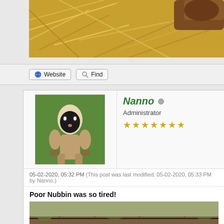[Figure (photo): Animal on hay/straw, partially visible at top of page]
Website   Find
[Figure (photo): Avatar photo of a dog or small animal on green grass]
Nanno
Administrator
★★★★★★★
05-02-2020, 05:32 PM (This post was last modified: 05-02-2020, 05:33 PM by Nanno.)
Poor Nubbin was so tired!
[Figure (photo): Garden or field photo with drip irrigation hose, dirt ground]